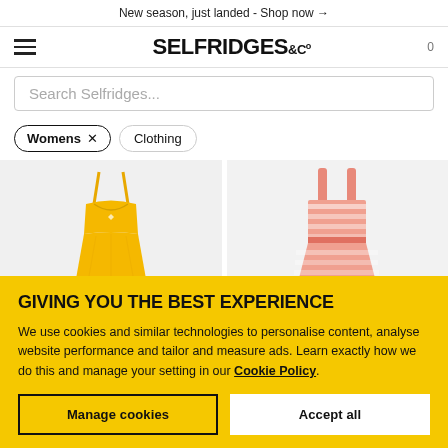New season, just landed - Shop now →
[Figure (logo): Selfridges & Co logo with hamburger menu and cart count 0]
Search Selfridges...
Womens × Clothing
[Figure (photo): Two product photos: yellow spaghetti-strap dress and pink/coral striped sundress]
GIVING YOU THE BEST EXPERIENCE
We use cookies and similar technologies to personalise content, analyse website performance and tailor and measure ads. Learn exactly how we do this and manage your setting in our Cookie Policy.
Manage cookies
Accept all